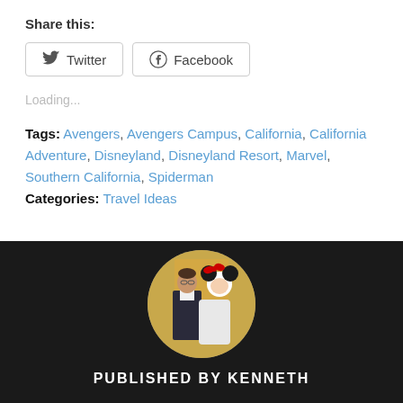Share this:
Twitter  Facebook
Loading...
Tags: Avengers, Avengers Campus, California, California Adventure, Disneyland, Disneyland Resort, Marvel, Southern California, Spiderman
Categories: Travel Ideas
[Figure (photo): Circular author photo showing a man in formal attire (dark vest, bow tie) posing with a Minnie Mouse character in a white dress, against a yellow/golden background.]
PUBLISHED BY KENNETH